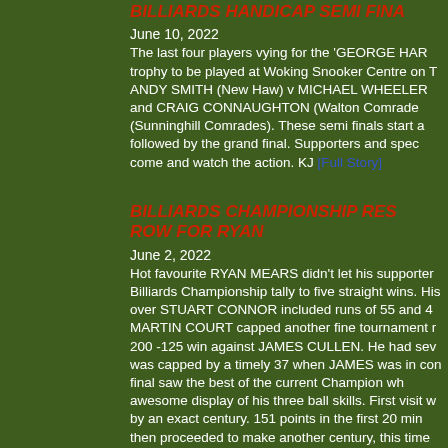BILLIARDS HANDICAP SEMI FINALS
June 10, 2022
The last four players vying for the 'GEORGE HAR... trophy to be played at Woking Snooker Centre on T... ANDY SMITH (New Haw) v MICHAEL WHEELER... and CRAIG CONNAUGHTON (Walton Comrade... (Sunninghill Comrades). These semi finals start a... followed by the grand final. Supporters and spec... come and watch the action. KJ [Full Story]
BILLIARDS CHAMPIONSHIP RES... ROW FOR RYAN
June 2, 2022
Hot favourite RYAN MEARS didn't let his supporter... Billiards Championship tally to five straight wins. His... over STUART CONNOR included runs of 55 and 4... MARTIN COURT capped another fine tournament r... 200 -125 win against JAMES CULLEN. He had sev... was capped by a timely 37 when JAMES was in con... final saw the best of the current Champion wh... awesome display of his three ball skills. First visit w... by an exact century. 151 points in the first 20 min... then proceeded to make another century, this time... display of cueing. His touch and precision positio... watch and admire. He followed up with breaks o... stuck to his task in admirable fashion and played so... was chasing shadows as RYAN never looked like w...